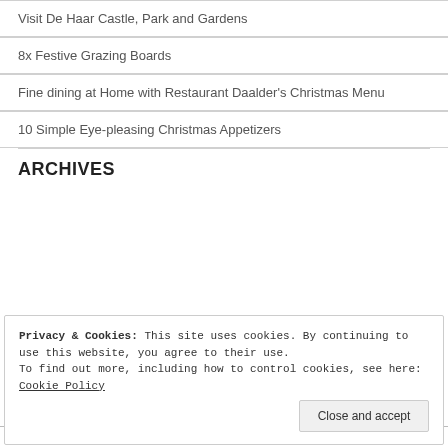Visit De Haar Castle, Park and Gardens
8x Festive Grazing Boards
Fine dining at Home with Restaurant Daalder's Christmas Menu
10 Simple Eye-pleasing Christmas Appetizers
ARCHIVES
Privacy & Cookies: This site uses cookies. By continuing to use this website, you agree to their use.
To find out more, including how to control cookies, see here: Cookie Policy
Close and accept
BEST EUROPE BLOG NOMINEE 2019